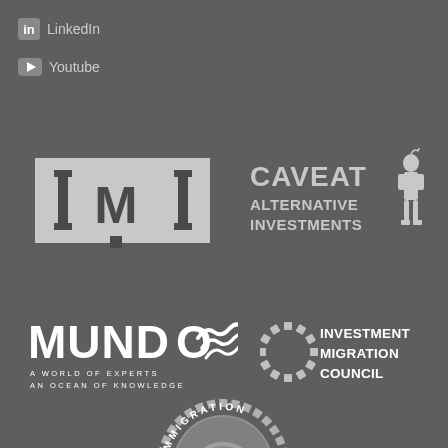[Figure (logo): LinkedIn social media icon and text label on dark grey background]
[Figure (logo): YouTube social media icon and text label on dark grey background]
[Figure (logo): IMI logo - light grey rectangle with stylized vertical bar letters I M I]
[Figure (logo): Caveat Alternative Investments logo with text and knight figure illustration]
[Figure (logo): Mundo logo - large white letters MUNDO with wave graphic, tagline A WORLD OF EXPERTS AN OCEAN OF KNOWLEDGE]
[Figure (logo): Investment Migration Council logo with diamond ring badge and text]
[Figure (logo): Immigration badge/seal partially visible at bottom of page]